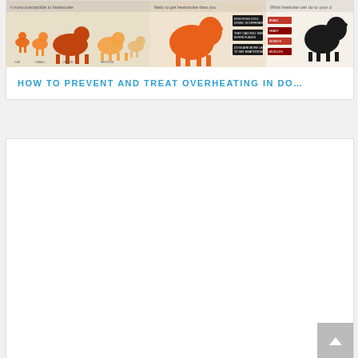[Figure (infographic): A dog heatstroke infographic banner showing three panels: dogs most susceptible to heatstroke (various dog silhouettes in orange/red on tan background), likelihood of getting heatstroke (orange dog silhouette with dark info boxes), and what heatstroke can do to your dog (black dog silhouette with red/dark annotation boxes).]
HOW TO PREVENT AND TREAT OVERHEATING IN DO…